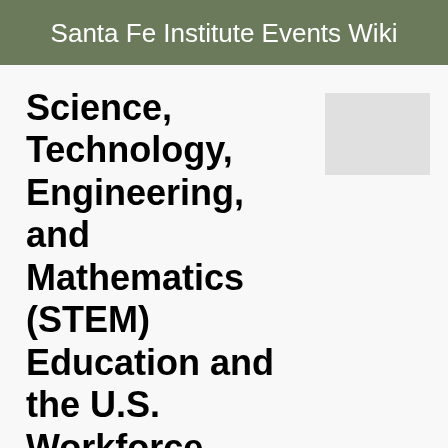Santa Fe Institute Events Wiki
Science, Technology, Engineering, and Mathematics (STEM) Education and the U.S. Workforce - Agenda
From Santa Fe Institute Events Wiki
Revision as of 15:12, 19 September 2011 by Lisaneal (talk | contribs)
(diff) ← Older revision | Latest revision (diff) | Newer revision → (diff)